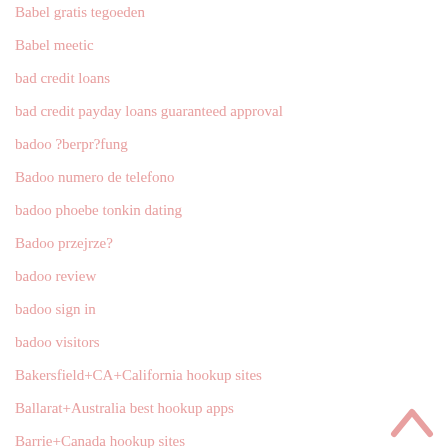Babel gratis tegoeden
Babel meetic
bad credit loans
bad credit payday loans guaranteed approval
badoo ?berpr?fung
Badoo numero de telefono
badoo phoebe tonkin dating
Badoo przejrze?
badoo review
badoo sign in
badoo visitors
Bakersfield+CA+California hookup sites
Ballarat+Australia best hookup apps
Barrie+Canada hookup sites
[Figure (other): Back to top chevron/arrow icon in pink/salmon color]